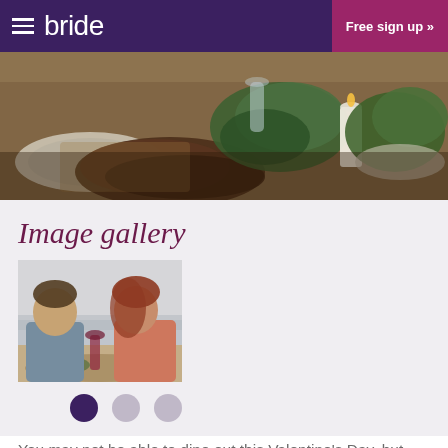bride   Free sign up »
[Figure (photo): Photo of a festive dining table with food, candles, and greenery]
Image gallery
[Figure (photo): Couple kissing over a romantic dinner table with food and wine]
You may not be able to dine out this Valentine's Day, but that doesnt mean you can't enjoy a delicious resturant-style three course meal with your loved one.